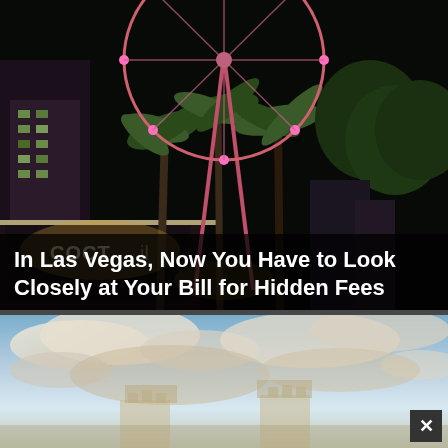[Figure (photo): Night photograph of the High Roller observation wheel in Las Vegas, lit in pink/magenta, with palm trees and illuminated storefronts including a 'Cocktail' sign in the foreground]
In Las Vegas, Now You Have to Look Closely at Your Bill for Hidden Fees
[Figure (photo): Daytime photograph with blue sky and clouds, showing the tops of ornate building towers/turrets in soft focus in the lower portion of the frame]